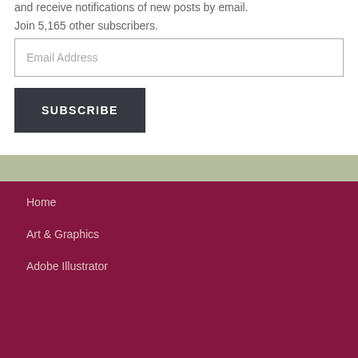and receive notifications of new posts by email.
Join 5,165 other subscribers.
Email Address
SUBSCRIBE
Home
Art & Graphics
Adobe Illustrator